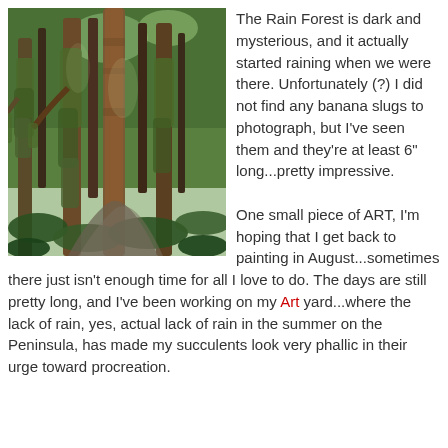[Figure (photo): A lush temperate rain forest scene with tall moss-covered trees and ferns along a winding path.]
The Rain Forest is dark and mysterious, and it actually started raining when we were there. Unfortunately (?) I did not find any banana slugs to photograph, but I've seen them and they're at least 6" long...pretty impressive.

One small piece of ART, I'm hoping that I get back to painting in August...sometimes there just isn't enough time for all I love to do. The days are still pretty long, and I've been working on my Art yard...where the lack of rain, yes, actual lack of rain in the summer on the Peninsula, has made my succulents look very phallic in their urge toward procreation.